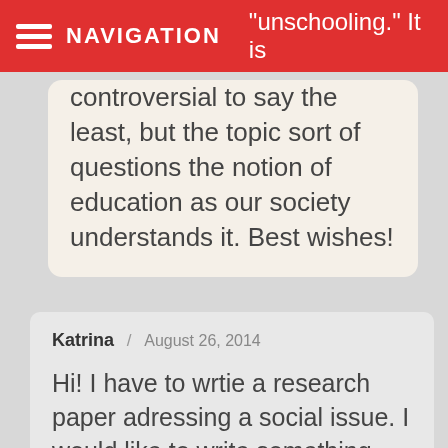NAVIGATION | "unschooling." It is
"unschooling." It is controversial to say the least, but the topic sort of questions the notion of education as our society understands it. Best wishes!
Katrina / August 26, 2014
Hi! I have to wrtie a research paper adressing a social issue. I would like to write something about what public housing has become. I work in